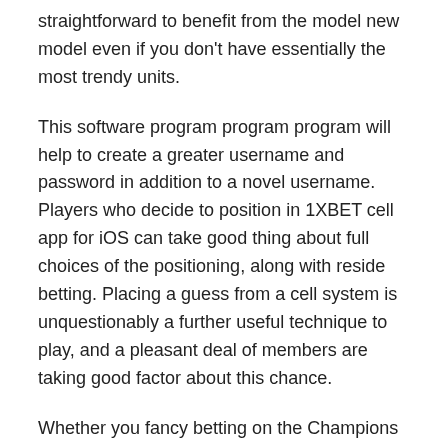straightforward to benefit from the model new model even if you don't have essentially the most trendy units.
This software program program program will help to create a greater username and password in addition to a novel username. Players who decide to position in 1XBET cell app for iOS can take good thing about full choices of the positioning, along with reside betting. Placing a guess from a cell system is unquestionably a further useful technique to play, and a pleasant deal of members are taking good factor about this chance.
Whether you fancy betting on the Champions League or the Belgian First Division, there are a selection of worldwide betting alternatives ready for you. As with all promotions provided by betting websites, there are a choice of phrases and circumstances hooked up to this bonus supply. You can also use prepaid playing playing cards with credit being ready, and like PaySafe Card.